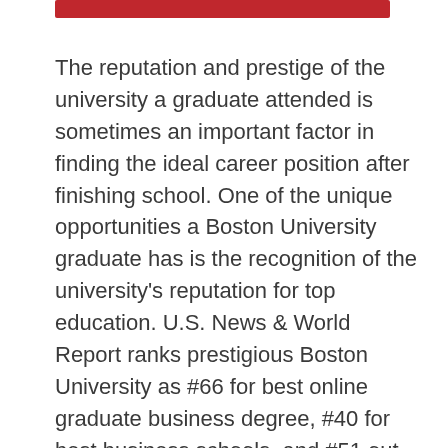[Figure (other): Red horizontal bar decorative element at top of page]
The reputation and prestige of the university a graduate attended is sometimes an important factor in finding the ideal career position after finishing school. One of the unique opportunities a Boston University graduate has is the recognition of the university's reputation for top education. U.S. News & World Report ranks prestigious Boston University as #66 for best online graduate business degree, #40 for best business schools, and #51 out of all national universities. Options for business students at Boston University include certificate, bachelor's, and master's programs in international business management and international business law. It's Bachelor of Business Administration program offers students the ability to specialize training within it's unique International Management concentration to learn and apply essential theories behind global markets and economies. Boston University is accredited by the New England Association of